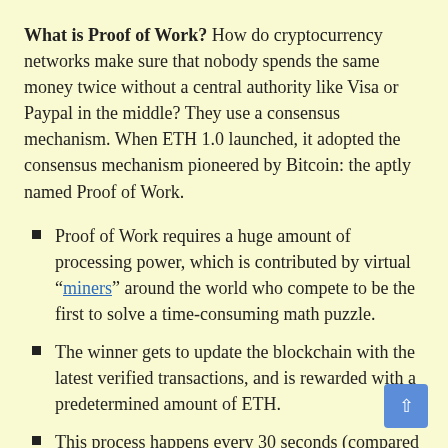What is Proof of Work? How do cryptocurrency networks make sure that nobody spends the same money twice without a central authority like Visa or Paypal in the middle? They use a consensus mechanism. When ETH 1.0 launched, it adopted the consensus mechanism pioneered by Bitcoin: the aptly named Proof of Work.
Proof of Work requires a huge amount of processing power, which is contributed by virtual "miners" around the world who compete to be the first to solve a time-consuming math puzzle.
The winner gets to update the blockchain with the latest verified transactions, and is rewarded with a predetermined amount of ETH.
This process happens every 30 seconds (compared to Bitcoin's approximately 10-minute cadence). As traffic on the network has increased, the limitations of Proof of Work have...